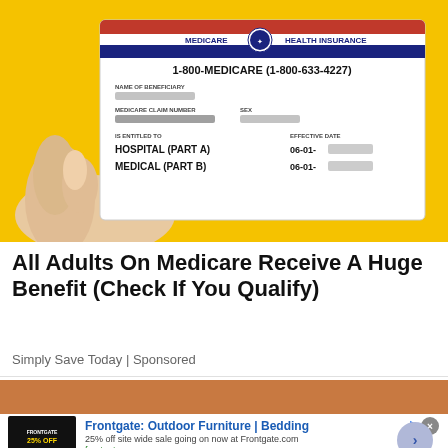[Figure (photo): Photo of a hand holding a Medicare Health Insurance card against a yellow background. The card shows: 1-800-MEDICARE (1-800-633-4227), NAME OF BENEFICIARY (blurred), MEDICARE CLAIM NUMBER (blurred), SEX (blurred), IS ENTITLED TO: HOSPITAL (PART A) EFFECTIVE DATE 06-01-[blurred], MEDICAL (PART B) 06-01-[blurred]]
All Adults On Medicare Receive A Huge Benefit (Check If You Qualify)
Simply Save Today | Sponsored
[Figure (photo): Advertisement banner showing Frontgate outdoor furniture promotion. Includes a dark thumbnail image with '25% OFF SITEWIDE' text, and ad text: 'Frontgate: Outdoor Furniture | Bedding', '25% off site wide sale going on now at Frontgate.com', 'frontgate.com'. There is a close button (x) and a navigation arrow button.]